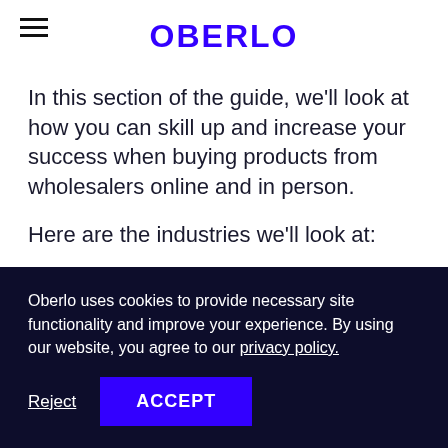OBERLO
In this section of the guide, we’ll look at how you can skill up and increase your success when buying products from wholesalers online and in person.
Here are the industries we’ll look at:
Wholesale women’s clothing and
Oberlo uses cookies to provide necessary site functionality and improve your experience. By using our website, you agree to our privacy policy.